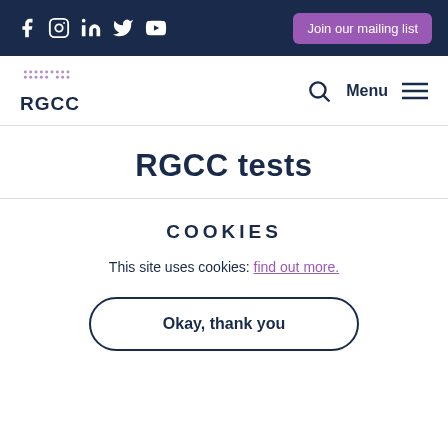Social icons (Facebook, Instagram, LinkedIn, Twitter, YouTube) | Join our mailing list
[Figure (logo): RGCC logo with dot-matrix pattern above text 'RGCC']
RGCC tests
COOKIES
This site uses cookies: find out more.
Okay, thank you